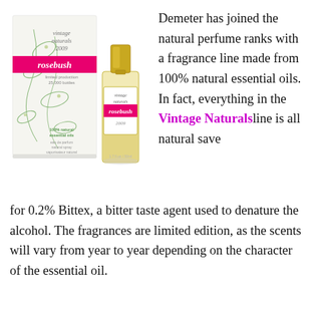[Figure (photo): Photo of Demeter Vintage Naturals 2009 Rosebush perfume box and bottle. White box with green floral design and pink 'rosebush' label. Glass perfume bottle with gold cap and label reading 'vintage naturals rosebush 2009 100% natural essential oils'.]
Demeter has joined the natural perfume ranks with a fragrance line made from 100% natural essential oils. In fact, everything in the Vintage Naturals line is all natural save for 0.2% Bittex, a bitter taste agent used to denature the alcohol. The fragrances are limited edition, as the scents will vary from year to year depending on the character of the essential oil.